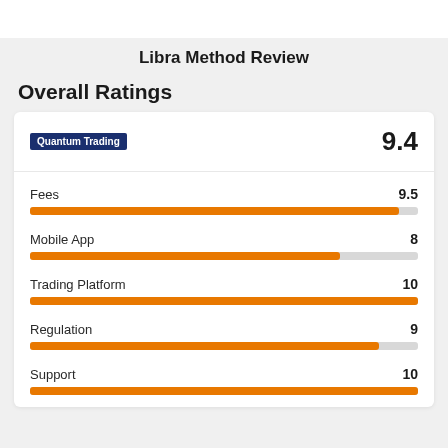Libra Method Review
Overall Ratings
[Figure (bar-chart): Overall Ratings]